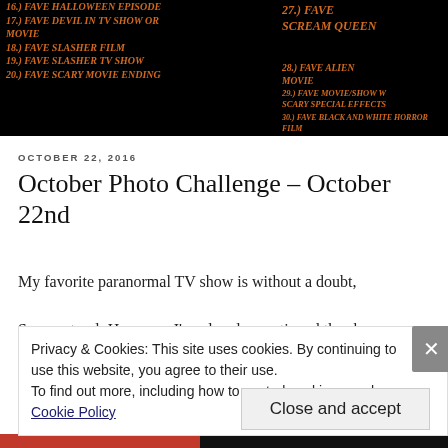[Figure (photo): Black background with orange Halloween-themed text listing favorite horror categories numbered 16-30, including Fave Halloween Episode, Fave Devil in TV Show or Movie, Fave Slasher Film, Fave Slasher TV Show, Fave Scary Movie Ending, Fave Scream Queen, Fave Alien Movie, Fave Movie/Show w Scary Special Effects, Fave Black and White Horror Film]
OCTOBER 22, 2016
October Photo Challenge – October 22nd
My favorite paranormal TV show is without a doubt,
Supernatural. However, I've already mentioned the show
Privacy & Cookies: This site uses cookies. By continuing to use this website, you agree to their use.
To find out more, including how to control cookies, see here: Cookie Policy
Close and accept